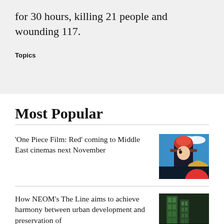for 30 hours, killing 21 people and wounding 117.
Topics
Most Popular
'One Piece Film: Red' coming to Middle East cinemas next November
[Figure (photo): Anime illustration showing two characters from One Piece Film: Red, featuring a red-haired character and another character with a straw hat, against a blue sky background.]
How NEOM's The Line aims to achieve harmony between urban development and preservation of